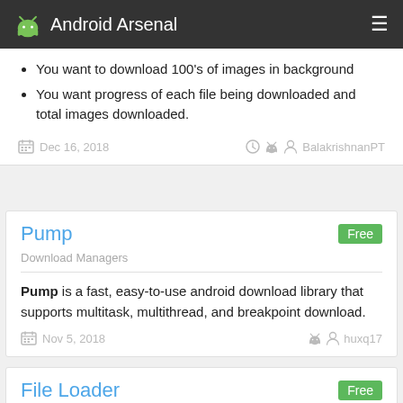Android Arsenal
You want to download 100's of images in background
You want progress of each file being downloaded and total images downloaded.
Dec 16, 2018  BalakrishnanPT
Pump
Download Managers
Pump is a fast, easy-to-use android download library that supports multitask, multithread, and breakpoint download.
Nov 5, 2018  huxq17
File Loader